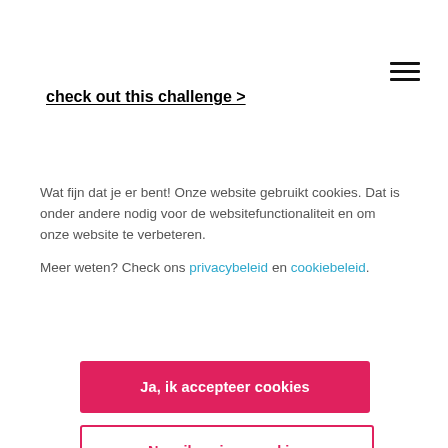check out this challenge >
Wat fijn dat je er bent! Onze website gebruikt cookies. Dat is onder andere nodig voor de websitefunctionaliteit en om onze website te verbeteren.

Meer weten? Check ons privacybeleid en cookiebeleid.
Ja, ik accepteer cookies
Nee, ik weiger cookies